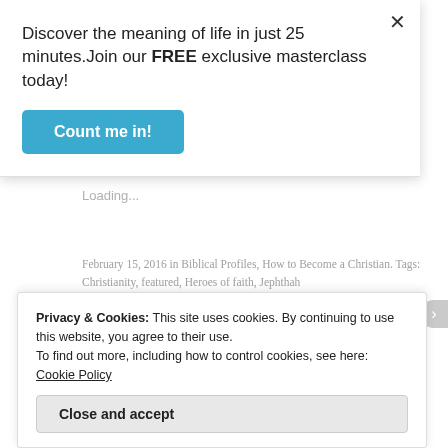Discover the meaning of life in just 25 minutes.Join our FREE exclusive masterclass today!
Count me in!
Email  LinkedIn  More
Loading...
February 15, 2016 in Biblical Profiles, How to Become a Christian. Tags: Christianity, featured, Heroes of faith, Jephthah
Privacy & Cookies: This site uses cookies. By continuing to use this website, you agree to their use.
To find out more, including how to control cookies, see here: Cookie Policy
Close and accept